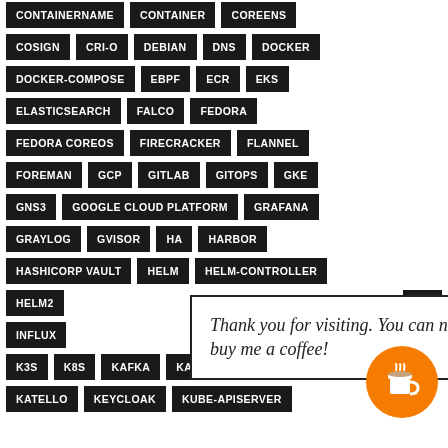COSIGN
CRI-O
DEBIAN
DNS
DOCKER
DOCKER-COMPOSE
EBPF
ECR
EKS
ELASTICSEARCH
FALCO
FEDORA
FEDORA COREOS
FIRECRACKER
FLANNEL
FOREMAN
GCP
GITLAB
GITOPS
GKE
GNS3
GOOGLE CLOUD PLATFORM
GRAFANA
GRAYLOG
GVISOR
HA
HARBOR
HASHICORP VAULT
HELM
HELM-CONTROLLER
HELM2
ILO
INFLUX
K3S
K8S
KAFKA
KATA-CONTAINER
KATELLO
KEYCLOAK
KUBE-APISERVER
Thank you for visiting. You can now buy me a coffee!